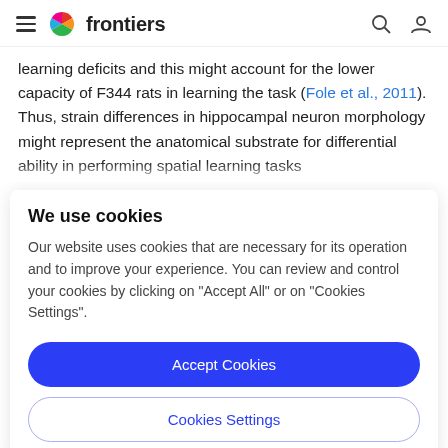frontiers (navigation bar with logo, search, and user icons)
learning deficits and this might account for the lower capacity of F344 rats in learning the task (Fole et al., 2011). Thus, strain differences in hippocampal neuron morphology might represent the anatomical substrate for differential ability in performing spatial learning tasks
We use cookies
Our website uses cookies that are necessary for its operation and to improve your experience. You can review and control your cookies by clicking on "Accept All" or on "Cookies Settings".
Accept Cookies
Cookies Settings